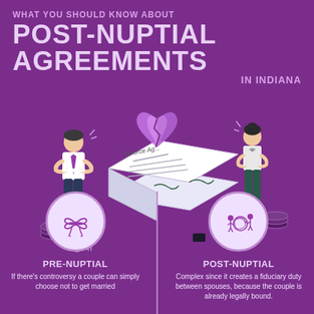WHAT YOU SHOULD KNOW ABOUT POST-NUPTIAL AGREEMENTS IN INDIANA
[Figure (illustration): Infographic showing a man and woman standing apart on either side of a divorce agreement document with a broken purple heart on top. Below are two circular icons: a ribbon/bow for pre-nuptial and a tangled thread figure for post-nuptial.]
PRE-NUPTIAL
If there's controversy a couple can simply choose not to get married
POST-NUPTIAL
Complex since it creates a fiduciary duty between spouses, because the couple is already legally bound.